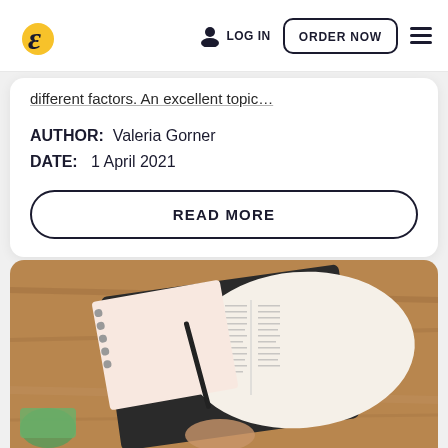Logo | LOG IN | ORDER NOW | Menu
different factors. An excellent topic...
AUTHOR: Valeria Gorner
DATE: 1 April 2021
READ MORE
[Figure (photo): Overhead view of open Bible, spiral notebook, pen, and study materials on a wooden desk surface]